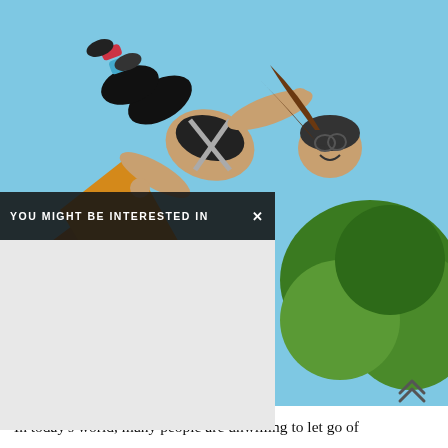[Figure (photo): A person doing an extreme sport (appears to be flying/jumping) mid-air against a blue sky, with trees visible in the background. The person is wearing black pants, colorful socks, a bra top, and a helmet, with hair flowing. There is a wooden structure visible.]
YOU MIGHT BE INTERESTED IN  X
In today's world, many people are unwilling to let go of